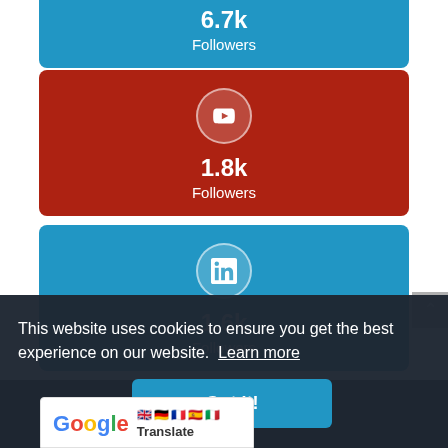[Figure (infographic): Social media follower card - Twitter/blue: 6.7k Followers (partially visible at top)]
[Figure (infographic): Social media follower card - YouTube/red: 1.8k Followers]
[Figure (infographic): Social media follower card - LinkedIn/blue: 1.6k Followers]
This website uses cookies to ensure you get the best experience on our website. Learn more
Got it!
[Figure (logo): Google Translate widget logo with flags]